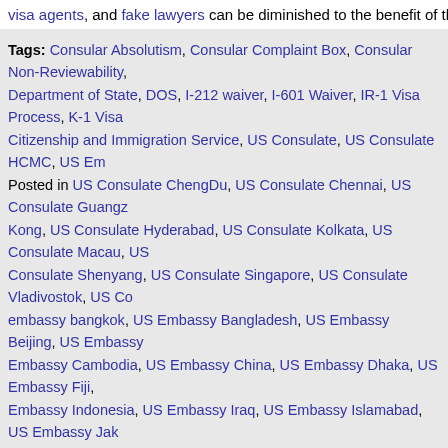visa agents, and fake lawyers can be diminished to the benefit of the prospective
Tags: Consular Absolutism, Consular Complaint Box, Consular Non-Reviewability, Department of State, DOS, I-212 waiver, I-601 Waiver, IR-1 Visa Process, K-1 Visa, Citizenship and Immigration Service, US Consulate, US Consulate HCMC, US Em Posted in US Consulate ChengDu, US Consulate Chennai, US Consulate Guangz Kong, US Consulate Hyderabad, US Consulate Kolkata, US Consulate Macau, US Consulate Shenyang, US Consulate Singapore, US Consulate Vladivostok, US Co embassy bangkok, US Embassy Bangladesh, US Embassy Beijing, US Embassy Embassy Cambodia, US Embassy China, US Embassy Dhaka, US Embassy Fiji, Embassy Indonesia, US Embassy Iraq, US Embassy Islamabad, US Embassy Jak Kathmandu, US Embassy Kiribati, US Embassy Kuala Lumpur, US Embassy Kyrg Embassy Malaysia, US Embassy Maldives, US Embassy Manila, US Embassy Ma Myanmar, US Embassy Nauru, US Embassy Nepal, US Embassy New Dehli, US Embassy Papua New Guinea, US Embassy Philippines, US Embassy Phnom Phe Rangoon, US Embassy Russia, US Embassy Singapore, US Embassy South Kore US Embassy Tokyo, US Embassy Tonga, US Embassy Turkmenistan, US Embass Vietnam, US Embassy Yangon, US State Department | No Comments »
Are US Embassies In Southeast Asia Affected By The Possible Government Shutdown?
Posted by: admin